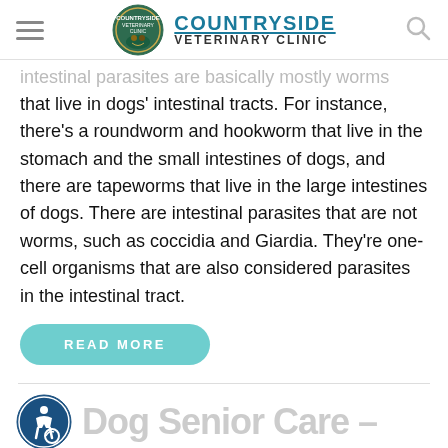COUNTRYSIDE VETERINARY CLINIC
intestinal parasites are basically mostly worms that live in dogs' intestinal tracts. For instance, there's a roundworm and hookworm that live in the stomach and the small intestines of dogs, and there are tapeworms that live in the large intestines of dogs. There are intestinal parasites that are not worms, such as coccidia and Giardia. They're one-cell organisms that are also considered parasites in the intestinal tract.
READ MORE
Dog Senior Care –